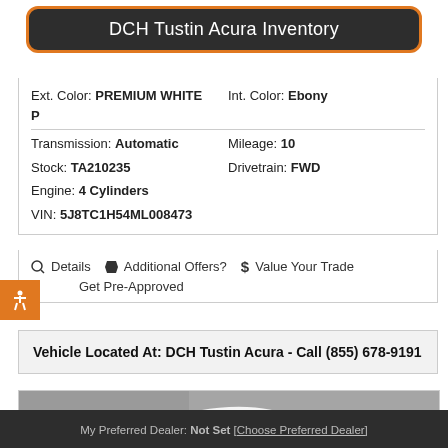DCH Tustin Acura Inventory
| Ext. Color: | PREMIUM WHITE P | Int. Color: | Ebony |
| Transmission: | Automatic | Mileage: | 10 |
| Stock: | TA210235 | Drivetrain: | FWD |
| Engine: | 4 Cylinders |  |  |
| VIN: | 5J8TC1H54ML008473 |  |  |
Details
Additional Offers?
Value Your Trade
Get Pre-Approved
Vehicle Located At: DCH Tustin Acura - Call (855) 678-9191
[Figure (photo): Photo of a white Acura SUV/car parked, side/rear view, against a gray wall background]
My Preferred Dealer: Not Set [Choose Preferred Dealer]